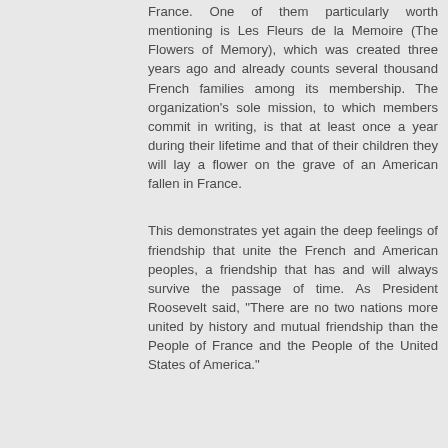France. One of them particularly worth mentioning is Les Fleurs de la Memoire (The Flowers of Memory), which was created three years ago and already counts several thousand French families among its membership. The organization's sole mission, to which members commit in writing, is that at least once a year during their lifetime and that of their children they will lay a flower on the grave of an American fallen in France.
This demonstrates yet again the deep feelings of friendship that unite the French and American peoples, a friendship that has and will always survive the passage of time. As President Roosevelt said, "There are no two nations more united by history and mutual friendship than the People of France and the People of the United States of America."